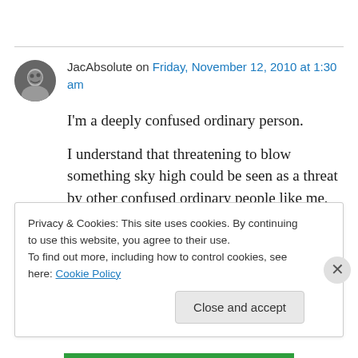JacAbsolute on Friday, November 12, 2010 at 1:30 am
I'm a deeply confused ordinary person.
I understand that threatening to blow something sky high could be seen as a threat by other confused ordinary people like me, especially
Privacy & Cookies: This site uses cookies. By continuing to use this website, you agree to their use.
To find out more, including how to control cookies, see here: Cookie Policy
Close and accept